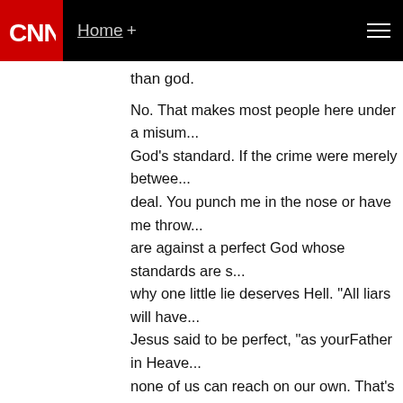CNN | Home +
than god.
No. That makes most people here under a misum... God's standard. If the crime were merely between... deal. You punch me in the nose or have me throw... are against a perfect God whose standards are s... why one little lie deserves Hell. "All liars will have... Jesus said to be perfect, "as yourFather in Heave... none of us can reach on our own. That's why Jes... qualified. And He loves you anyway. And thus too...
Anyway, off to the grind. Have a great day, guys.
June 18, 2013 at 4:00 pm |
sam stone
Pete: Of course, it is not "god" that people are m... sheep molesters who wrote, translated and edite... thugs. And, of course, the slappies like Topher w... for mercy